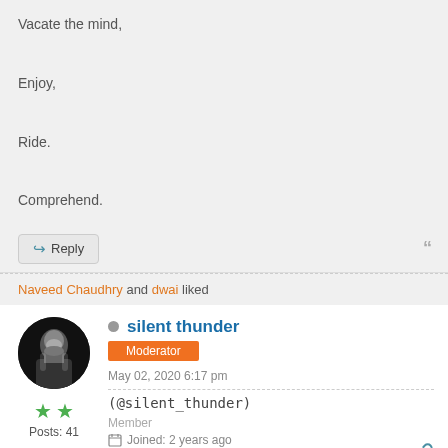Vacate the mind,
Enjoy,
Ride.
Comprehend.
Reply
Naveed Chaudhry and dwai liked
silent thunder
Moderator
May 02, 2020 6:17 pm
(@silent_thunder)
Member
Joined: 2 years ago